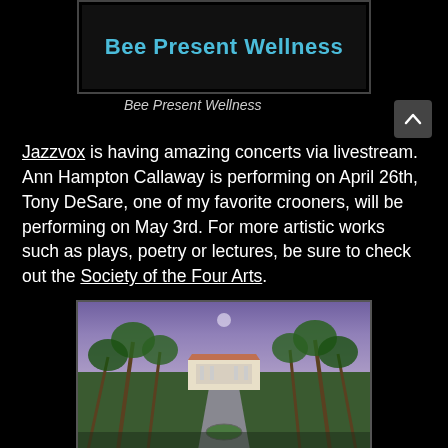[Figure (logo): Bee Present Wellness logo — teal text on dark background]
Bee Present Wellness
Jazzvox is having amazing concerts via livestream. Ann Hampton Callaway is performing on April 26th, Tony DeSare, one of my favorite crooners, will be performing on May 3rd. For more artistic works such as plays, poetry or lectures, be sure to check out the Society of the Four Arts.
[Figure (photo): Aerial or entrance view of Society of the Four Arts building surrounded by palm trees and manicured grounds, twilight sky]